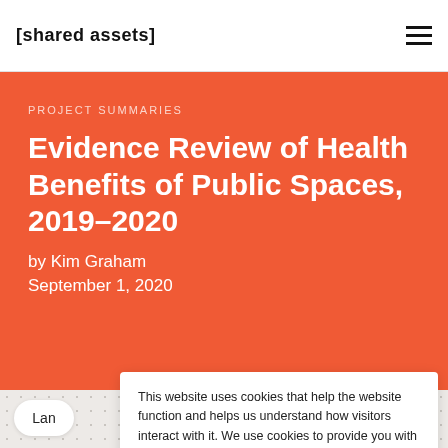[shared assets]
PROJECT SUMMARIES
Evidence Review of Health Benefits of Public Spaces, 2019–2020
by Kim Graham
September 1, 2020
This website uses cookies that help the website function and helps us understand how visitors interact with it. We use cookies to provide you with an improved and customised user experience. Learn more
ACCEPT